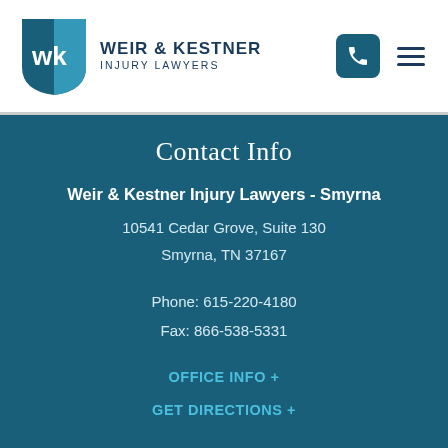[Figure (logo): Weir & Kestner Injury Lawyers shield logo with WK initials and firm name]
Contact Info
Weir & Kestner Injury Lawyers - Smyrna
10541 Cedar Grove, Suite 130
Smyrna, TN 37167
Phone: 615-220-4180
Fax: 866-538-5331
OFFICE INFO +
GET DIRECTIONS +